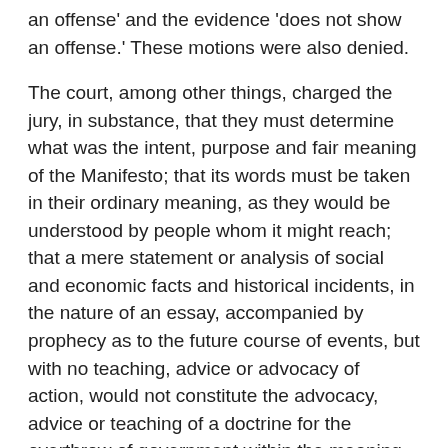an offense' and the evidence 'does not show an offense.' These motions were also denied.
The court, among other things, charged the jury, in substance, that they must determine what was the intent, purpose and fair meaning of the Manifesto; that its words must be taken in their ordinary meaning, as they would be understood by people whom it might reach; that a mere statement or analysis of social and economic facts and historical incidents, in the nature of an essay, accompanied by prophecy as to the future course of events, but with no teaching, advice or advocacy of action, would not constitute the advocacy, advice or teaching of a doctrine for the overthrow of government within the meaning of the statute; that a mere statement that unlawful acts might accomplish such a purpose would be insufficient, unless there was a teaching, advising the advocacy of employing such unlawful acts for the purpose of overthrowing government; and that if